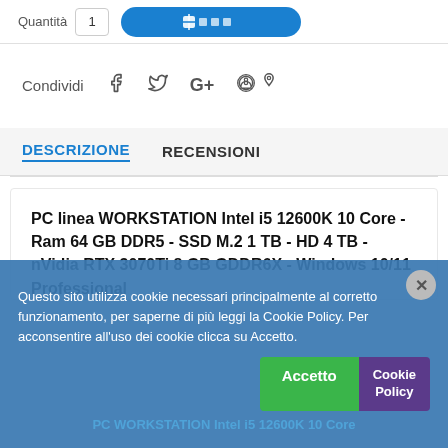Quantità  [quantity box]  [Add to cart button]
Condividi  f  Twitter  G+  Pinterest
DESCRIZIONE   RECENSIONI
PC linea WORKSTATION Intel i5 12600K 10 Core - Ram 64 GB DDR5 - SSD M.2 1 TB - HD 4 TB - nVidia RTX 3070Ti 8 GB GDDR6X - Windows 10/11 Professional
Scheda tecnica:
Questo sito utilizza cookie necessari principalmente al corretto funzionamento, per saperne di più leggi la Cookie Policy. Per acconsentire all'uso dei cookie clicca su Accetto.
PC WORKSTATION Intel i5 12600K 10 Core